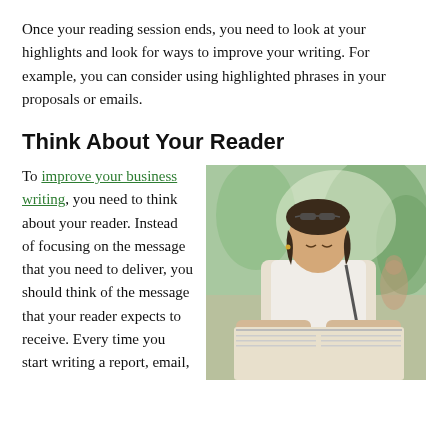Once your reading session ends, you need to look at your highlights and look for ways to improve your writing. For example, you can consider using highlighted phrases in your proposals or emails.
Think About Your Reader
[Figure (photo): A young woman reading a newspaper outdoors, with trees and a bright background visible. She is wearing a white sleeveless top and has sunglasses on her head.]
To improve your business writing, you need to think about your reader. Instead of focusing on the message that you need to deliver, you should think of the message that your reader expects to receive. Every time you start writing a report, email,